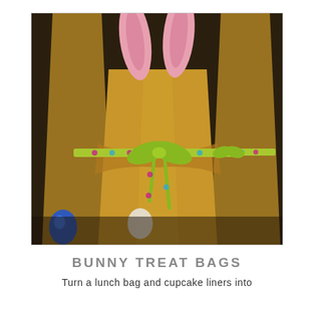[Figure (photo): Photo of brown paper lunch bags decorated as Easter bunny treat bags with pink paper bunny ears sticking out the top and green polka-dot ribbon tied around the middle in a bow. A blue foil-wrapped chocolate egg is visible in the lower left. The background is dark.]
BUNNY TREAT BAGS
Turn a lunch bag and cupcake liners into